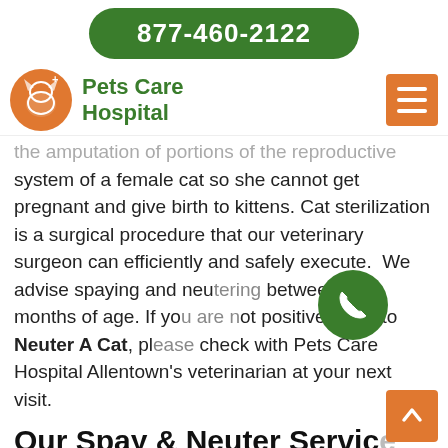877-460-2122
[Figure (logo): Pets Care Hospital logo with orange circle containing a cat and cross symbol, and green bold text 'Pets Care Hospital']
the amputation of portions of the reproductive system of a female cat so she cannot get pregnant and give birth to kittens. Cat sterilization is a surgical procedure that our veterinary surgeon can efficiently and safely execute. We advise spaying and neutering between 4-6 months of age. If you are not positive when to Neuter A Cat, please check with Pets Care Hospital Allentown's veterinarian at your next visit.
Our Spay & Neuter Services in Allentown